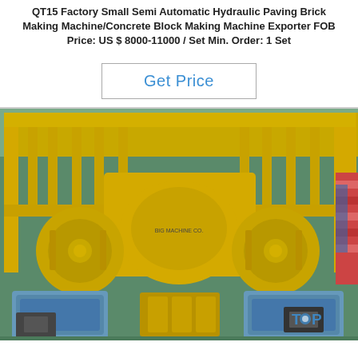QT15 Factory Small Semi Automatic Hydraulic Paving Brick Making Machine/Concrete Block Making Machine Exporter FOB Price: US $ 8000-11000 / Set Min. Order: 1 Set
Get Price
[Figure (photo): A large yellow hydraulic brick/block making machine photographed in a factory warehouse. The machine is prominently yellow with two large motor assemblies wrapped in blue plastic on either side of a central drive unit. The background shows a green factory floor and additional machinery/materials.]